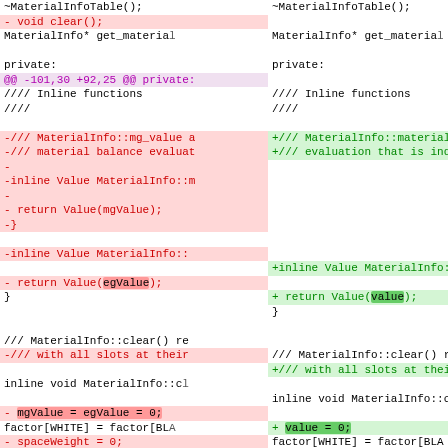[Figure (screenshot): A code diff view showing two columns: left side (old/deleted) and right side (new/added) of C++ source changes to MaterialInfo class, including method removals and additions, shown with red/green diff highlighting.]